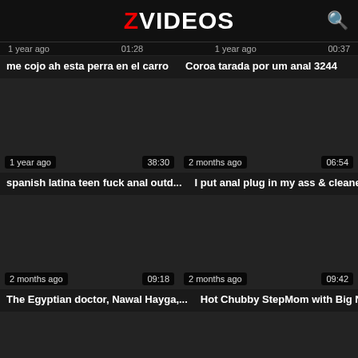ZVIDEOS
1 year ago   01:28   1 year ago   00:37
me cojo ah esta perra en el carro
Coroa tarada por um anal 3244
[Figure (screenshot): Dark video thumbnail with metadata: 1 year ago, 38:30]
[Figure (screenshot): Dark video thumbnail with metadata: 2 months ago, 06:54]
spanish latina teen fuck anal outd...
I put anal plug in my ass & cleaned...
[Figure (screenshot): Dark video thumbnail with metadata: 2 months ago, 09:18]
[Figure (screenshot): Dark video thumbnail with metadata: 2 months ago, 09:42]
The Egyptian doctor, Nawal Hayga,...
Hot Chubby StepMom with Big Nat...
[Figure (screenshot): Partial dark video thumbnail at bottom left]
[Figure (screenshot): Partial dark video thumbnail at bottom right]